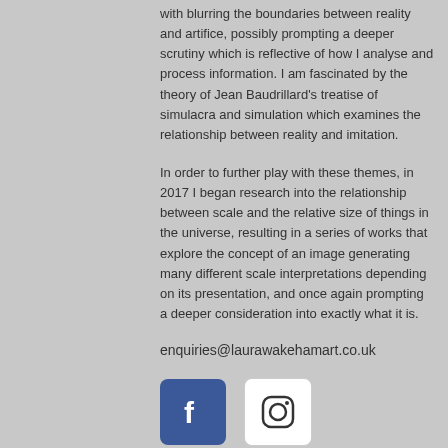with blurring the boundaries between reality and artifice, possibly prompting a deeper scrutiny which is reflective of how I analyse and process information. I am fascinated by the theory of Jean Baudrillard's treatise of simulacra and simulation which examines the relationship between reality and imitation.
In order to further play with these themes, in 2017 I began research into the relationship between scale and the relative size of things in the universe, resulting in a series of works that explore the concept of an image generating many different scale interpretations depending on its presentation, and once again prompting a deeper consideration into exactly what it is.
enquiries@laurawakehamart.co.uk
[Figure (logo): Facebook logo icon (blue background with white f)]
[Figure (logo): Instagram logo icon (white background with camera outline)]